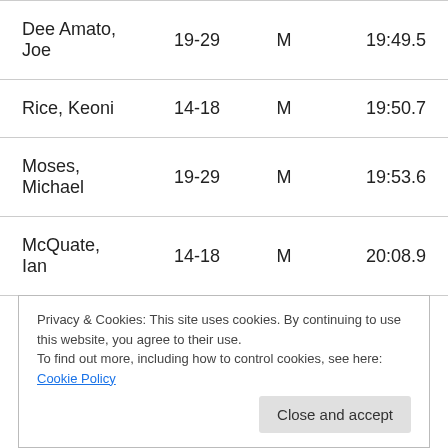| Name | Age Group | Gender | Time |
| --- | --- | --- | --- |
| Dee Amato, Joe | 19-29 | M | 19:49.5 |
| Rice, Keoni | 14-18 | M | 19:50.7 |
| Moses, Michael | 19-29 | M | 19:53.6 |
| McQuate, Ian | 14-18 | M | 20:08.9 |
| Sato, Dyson | 14-18 | M | 20:15.1 |
Privacy & Cookies: This site uses cookies. By continuing to use this website, you agree to their use. To find out more, including how to control cookies, see here: Cookie Policy